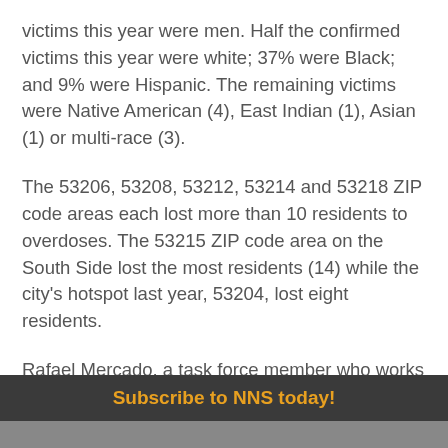victims this year were men. Half the confirmed victims this year were white; 37% were Black; and 9% were Hispanic. The remaining victims were Native American (4), East Indian (1), Asian (1) or multi-race (3).
The 53206, 53208, 53212, 53214 and 53218 ZIP code areas each lost more than 10 residents to overdoses. The 53215 ZIP code area on the South Side lost the most residents (14) while the city's hotspot last year, 53204, lost eight residents.
Rafael Mercado, a task force member who works the front lines of the city's battle against the opioid epidemic on the South Side as the leader of Team HAVOC, pleaded for increased access to treatment during the meeting.
Subscribe to NNS today!